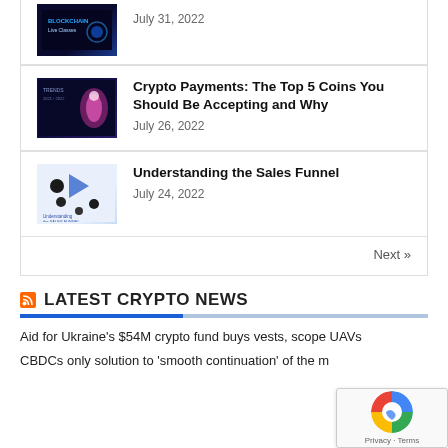[Figure (screenshot): Thumbnail image for blockchain article]
July 31, 2022
Crypto Payments: The Top 5 Coins You Should Be Accepting and Why
July 26, 2022
Understanding the Sales Funnel
July 24, 2022
Next »
LATEST CRYPTO NEWS
Aid for Ukraine's $54M crypto fund buys vests, scope UAVs
CBDCs only solution to 'smooth continuation' of the m